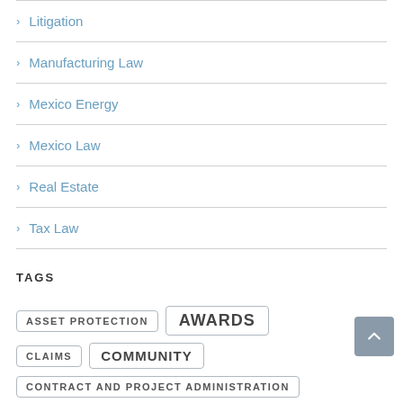Litigation
Manufacturing Law
Mexico Energy
Mexico Law
Real Estate
Tax Law
TAGS
ASSET PROTECTION  AWARDS  CLAIMS  COMMUNITY  CONTRACT AND PROJECT ADMINISTRATION